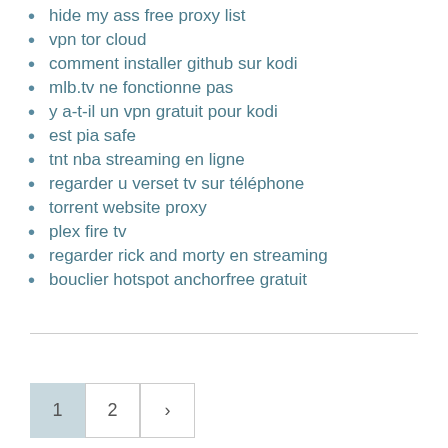hide my ass free proxy list
vpn tor cloud
comment installer github sur kodi
mlb.tv ne fonctionne pas
y a-t-il un vpn gratuit pour kodi
est pia safe
tnt nba streaming en ligne
regarder u verset tv sur téléphone
torrent website proxy
plex fire tv
regarder rick and morty en streaming
bouclier hotspot anchorfree gratuit